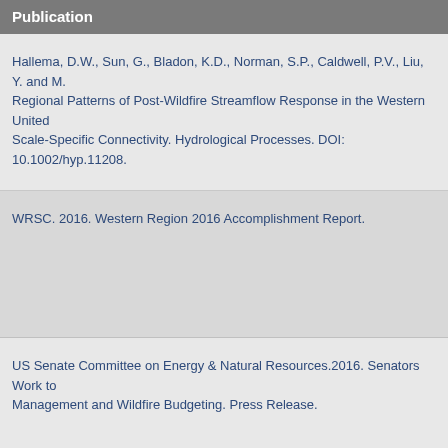Publication
Hallema, D.W., Sun, G., Bladon, K.D., Norman, S.P., Caldwell, P.V., Liu, Y. and M. Regional Patterns of Post-Wildfire Streamflow Response in the Western United Scale-Specific Connectivity. Hydrological Processes. DOI: 10.1002/hyp.11208.
WRSC. 2016. Western Region 2016 Accomplishment Report.
US Senate Committee on Energy & Natural Resources.2016. Senators Work to Management and Wildfire Budgeting. Press Release.